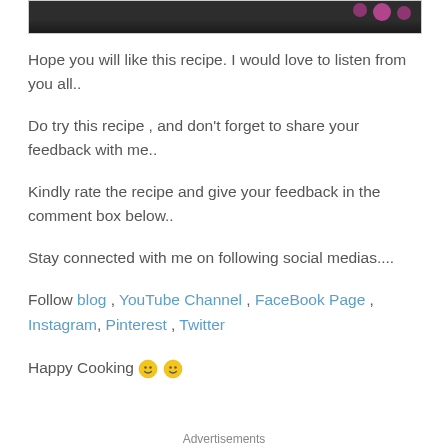[Figure (photo): Top portion of a food/recipe photo showing dark background with pink flowers]
Hope you will like this recipe. I would love to listen from you all..
Do try this recipe , and don't forget to share your feedback with me..
Kindly rate the recipe and give your feedback in the comment box below..
Stay connected with me on following social medias....
Follow blog , YouTube Channel , FaceBook Page , Instagram, Pinterest , Twitter
Happy Cooking 🙂 🙂
Advertisements